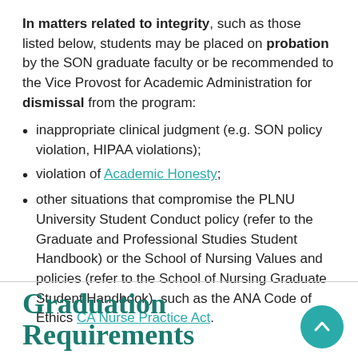In matters related to integrity, such as those listed below, students may be placed on probation by the SON graduate faculty or be recommended to the Vice Provost for Academic Administration for dismissal from the program:
inappropriate clinical judgment (e.g. SON policy violation, HIPAA violations);
violation of Academic Honesty;
other situations that compromise the PLNU University Student Conduct policy (refer to the Graduate and Professional Studies Student Handbook) or the School of Nursing Values and policies (refer to the School of Nursing Graduate Student Handbook), such as the ANA Code of Ethics CA Nurse Practice Act.
Graduation Requirements